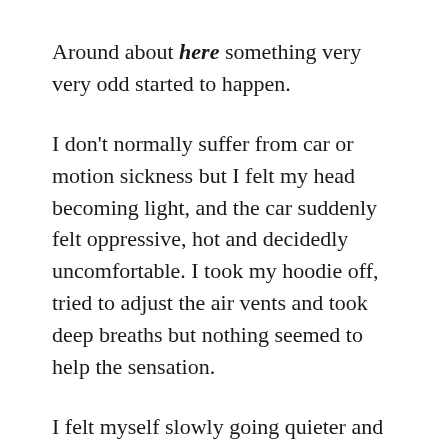Around about here something very very odd started to happen.
I don't normally suffer from car or motion sickness but I felt my head becoming light, and the car suddenly felt oppressive, hot and decidedly uncomfortable. I took my hoodie off, tried to adjust the air vents and took deep breaths but nothing seemed to help the sensation.
I felt myself slowly going quieter and my conversation tailed off. I couldn't look down or out of the window without feeling strange and soon asked my companions if any of them minded me opening a window.